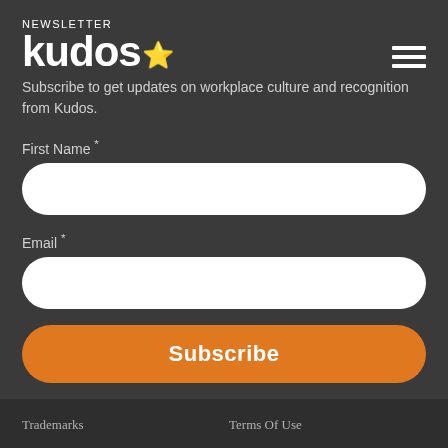NEWSLETTER
kudos
Subscribe to get updates on workplace culture and recognition from Kudos.
First Name *
[Figure (other): First Name input field (white rounded rectangle)]
Email *
[Figure (other): Email input field (white rounded rectangle)]
Subscribe
Trademarks | Terms Of Use | Privacy Policy | Cookie Consent | Sitemap | System Status